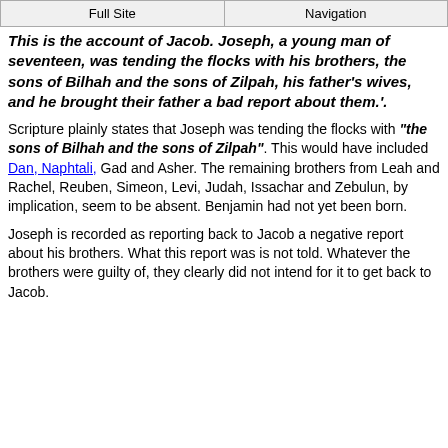Full Site | Navigation
This is the account of Jacob. Joseph, a young man of seventeen, was tending the flocks with his brothers, the sons of Bilhah and the sons of Zilpah, his father's wives, and he brought their father a bad report about them.'.
Scripture plainly states that Joseph was tending the flocks with "the sons of Bilhah and the sons of Zilpah". This would have included Dan, Naphtali, Gad and Asher. The remaining brothers from Leah and Rachel, Reuben, Simeon, Levi, Judah, Issachar and Zebulun, by implication, seem to be absent. Benjamin had not yet been born.
Joseph is recorded as reporting back to Jacob a negative report about his brothers. What this report was is not told. Whatever the brothers were guilty of, they clearly did not intend for it to get back to Jacob.